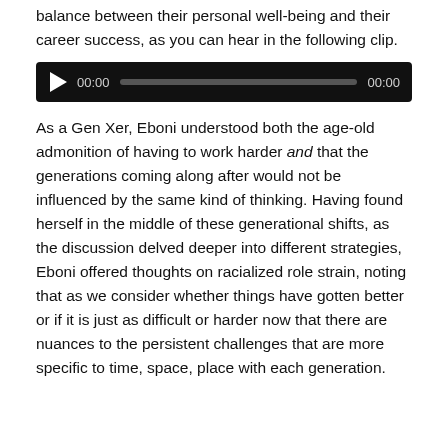balance between their personal well-being and their career success, as you can hear in the following clip.
[Figure (other): Audio player with play button, progress bar, and time display showing 00:00 / 00:00]
As a Gen Xer, Eboni understood both the age-old admonition of having to work harder and that the generations coming along after would not be influenced by the same kind of thinking. Having found herself in the middle of these generational shifts, as the discussion delved deeper into different strategies, Eboni offered thoughts on racialized role strain, noting that as we consider whether things have gotten better or if it is just as difficult or harder now that there are nuances to the persistent challenges that are more specific to time, space, place with each generation.